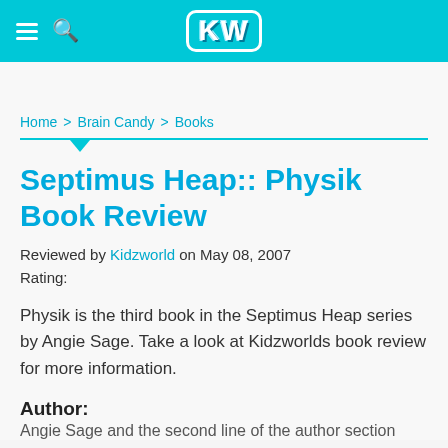KW
Home > Brain Candy > Books
Septimus Heap:: Physik Book Review
Reviewed by Kidzworld on May 08, 2007
Rating:
Physik is the third book in the Septimus Heap series by Angie Sage. Take a look at Kidzworlds book review for more information.
Author:
Angie Sage and the second line of the author section